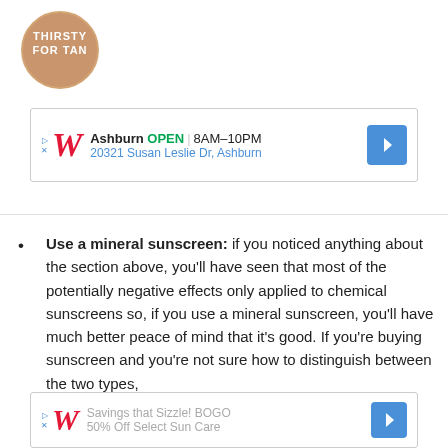[Figure (logo): Circular tan/brown logo with white text reading THIRSTY FOR TAN]
[Figure (other): Walgreens advertisement banner: Ashburn OPEN 8AM-10PM, 20321 Susan Leslie Dr, Ashburn]
Use a mineral sunscreen: if you noticed anything about the section above, you'll have seen that most of the potentially negative effects only applied to chemical sunscreens so, if you use a mineral sunscreen, you'll have much better peace of mind that it's good. If you're buying sunscreen and you're not sure how to distinguish between the two types,
[Figure (other): Walgreens advertisement banner: Savings that Sizzle! BOGO 50% Off Select Sun Care]